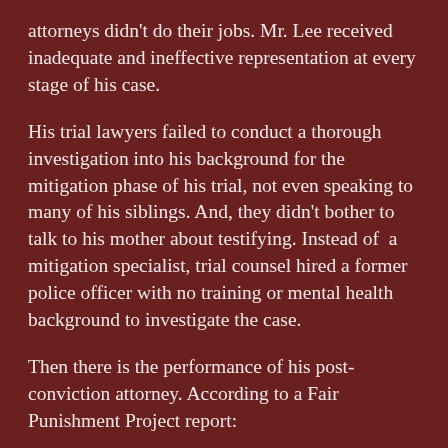attorneys didn't do their jobs. Mr. Lee received inadequate and ineffective representation at every stage of his case.
His trial lawyers failed to conduct a thorough investigation into his background for the mitigation phase of his trial, not even speaking to many of his siblings. And, they didn't bother to talk to his mother about testifying. Instead of a mitigation specialist, trial counsel hired a former police officer with no training or mental health background to investigate the case.
Then there is the performance of his post-conviction attorney. According to a Fair Punishment Project report:
Lee's first state post-conviction attorney had substance abuse problems that left him “impaired to the point of unavailability on one or more days of the Rule 37 hearing.”[120] The Arkansas Supreme Court noted several